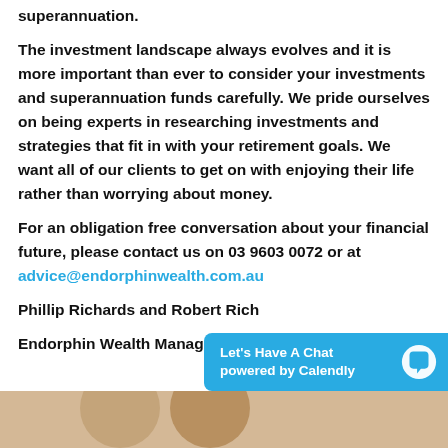superannuation.
The investment landscape always evolves and it is more important than ever to consider your investments and superannuation funds carefully. We pride ourselves on being experts in researching investments and strategies that fit in with your retirement goals. We want all of our clients to get on with enjoying their life rather than worrying about money.
For an obligation free conversation about your financial future, please contact us on 03 9603 0072 or at advice@endorphinwealth.com.au
Phillip Richards and Robert Rich
Endorphin Wealth Management
[Figure (screenshot): Calendly chat widget button: blue rounded rectangle with text 'Let’s Have A Chat powered by Calendly' and a speech bubble icon, positioned bottom right]
[Figure (photo): Bottom strip showing partial view of two people photos against warm background]